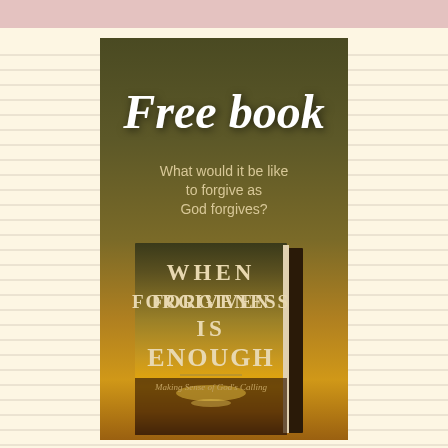[Figure (illustration): Book advertisement on a lined notebook background. Large italic white text reads 'Free book' at the top of a dark olive/golden sunset background. Below it reads 'What would it be like to forgive as God forgives?' A book cover is shown with title 'WHEN FORGIVENESS IS ENOUGH' and subtitle 'Making Sense of God's Calling' against a sunset over water background.]